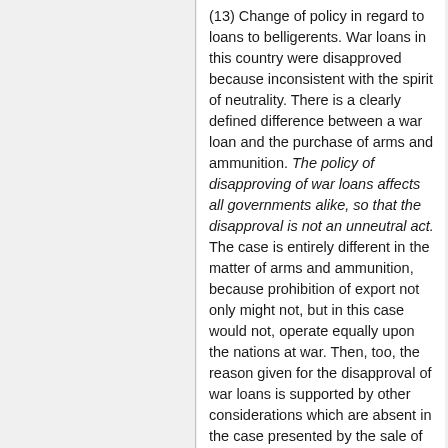(13) Change of policy in regard to loans to belligerents. War loans in this country were disapproved because inconsistent with the spirit of neutrality. There is a clearly defined difference between a war loan and the purchase of arms and ammunition. The policy of disapproving of war loans affects all governments alike, so that the disapproval is not an unneutral act. The case is entirely different in the matter of arms and ammunition, because prohibition of export not only might not, but in this case would not, operate equally upon the nations at war. Then, too, the reason given for the disapproval of war loans is supported by other considerations which are absent in the case presented by the sale of arms and ammunitions The taking of money out of the United States